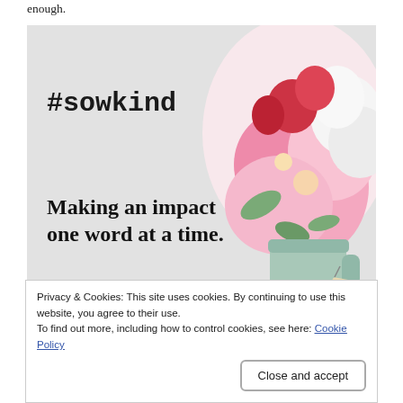enough.
[Figure (photo): Promotional image with text '#sowkind', 'Making an impact one word at a time.' and 'A Movement of Kindness' alongside a bouquet of pink, red and white flowers in a mint green jug.]
Privacy & Cookies: This site uses cookies. By continuing to use this website, you agree to their use.
To find out more, including how to control cookies, see here: Cookie Policy
Close and accept